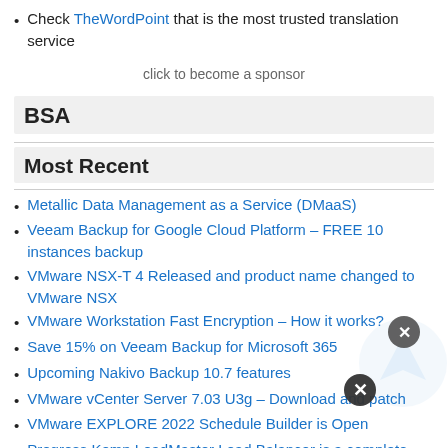Check TheWordPoint that is the most trusted translation service
click to become a sponsor
BSA
Most Recent
Metallic Data Management as a Service (DMaaS)
Veeam Backup for Google Cloud Platform – FREE 10 instances backup
VMware NSX-T 4 Released and product name changed to VMware NSX
VMware Workstation Fast Encryption – How it works?
Save 15% on Veeam Backup for Microsoft 365
Upcoming Nakivo Backup 10.7 features
VMware vCenter Server 7.03 U3g – Download and patch
VMware EXPLORE 2022 Schedule Builder is Open
Progress Kemp LoadMaster Load Balancer is a complete product